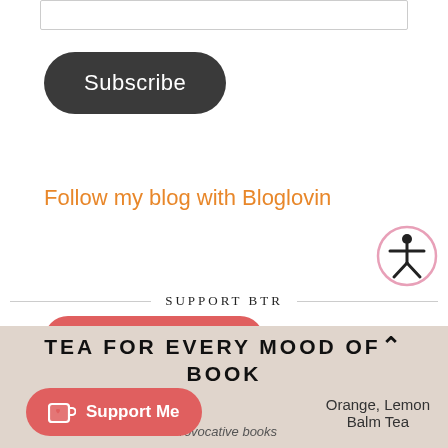[Figure (other): Gray rounded rectangle border at top of page]
Subscribe
Follow my blog with Bloglovin
[Figure (other): Accessibility icon - pink circle with person figure]
SUPPORT BTR
[Figure (other): Buy Me a Coffee button - red pill button with cup icon]
[Figure (other): Tea for every mood of book banner section with Support Me button]